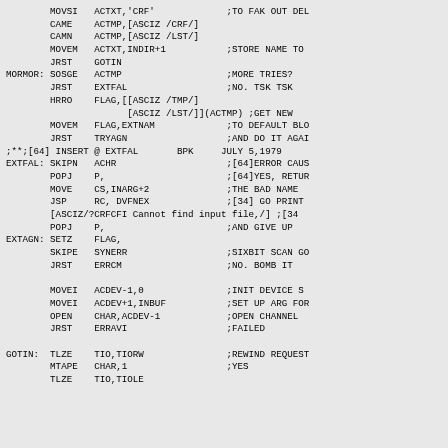Assembly language source code listing showing MOVSI, CAME, CAMN, MOVEM, JRST, MORMOR, SOSGE, HRRO, EXTFAL, EXTAGN, GOTIN routines with comments